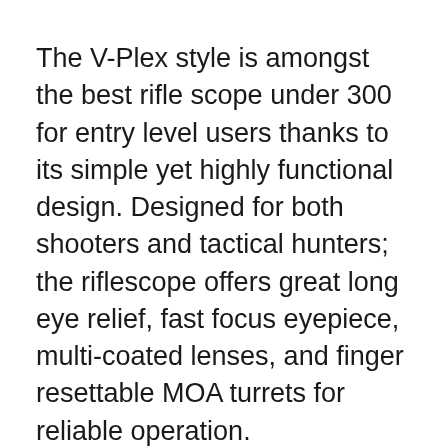The V-Plex style is amongst the best rifle scope under 300 for entry level users thanks to its simple yet highly functional design. Designed for both shooters and tactical hunters; the riflescope offers great long eye relief, fast focus eyepiece, multi-coated lenses, and finger resettable MOA turrets for reliable operation.
Its all-purpose reticle on the other end makes it a perfect choice for a wide variety of hunting applications. The second focal plane reticle design maintains the same size during magnification to ensure you enjoy the same image quality, no matter the